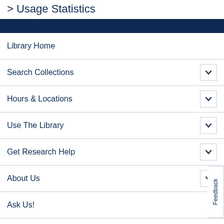> Usage Statistics
Library Home
Search Collections
Hours & Locations
Use The Library
Get Research Help
About Us
Ask Us!
LOGIN
UBC Library
Vancouver Campus